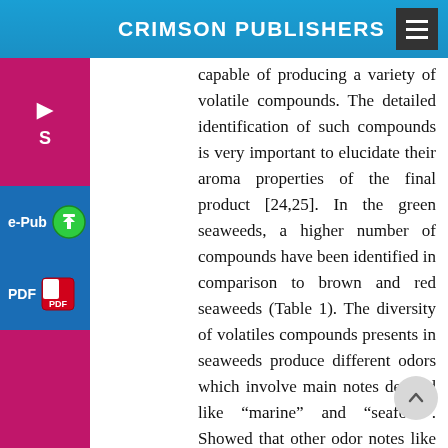CRIMSON PUBLISHERS
capable of producing a variety of volatile compounds. The detailed identification of such compounds is very important to elucidate their aroma properties of the final product [24,25]. In the green seaweeds, a higher number of compounds have been identified in comparison to brown and red seaweeds (Table 1). The diversity of volatiles compounds presents in seaweeds produce different odors which involve main notes defined like “marine” and “seafood”. Showed that other odor notes like “fatty”, “fish”, “licorice”, “spices”, “green”, “honey” were detected in species of green, red and brown